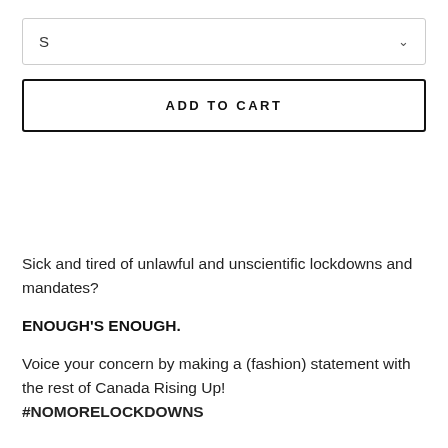S
ADD TO CART
Sick and tired of unlawful and unscientific lockdowns and mandates?
ENOUGH'S ENOUGH.
Voice your concern by making a (fashion) statement with the rest of Canada Rising Up! #NOMORELOCKDOWNS